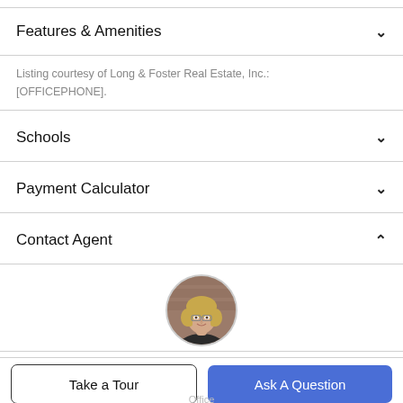Features & Amenities
Listing courtesy of Long & Foster Real Estate, Inc.: [OFFICEPHONE].
Schools
Payment Calculator
Contact Agent
[Figure (photo): Circular headshot of a blonde woman with glasses wearing a dark top, set against a brick wall background.]
Take a Tour
Ask A Question
Office